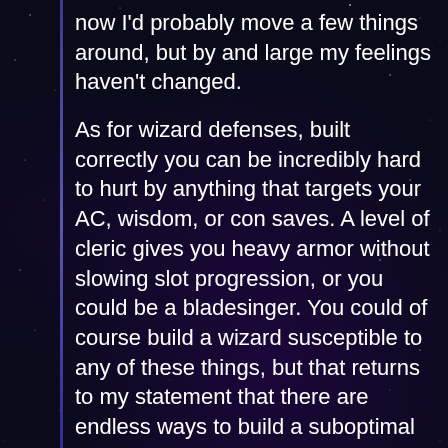now I'd probably move a few things around, but by and large my feelings haven't changed.
As for wizard defenses, built correctly you can be incredibly hard to hurt by anything that targets your AC, wisdom, or con saves. A level of cleric gives you heavy armor without slowing slot progression, or you could be a bladesinger. You could of course build a wizard susceptible to any of these things, but that returns to my statement that there are endless ways to build a suboptimal character.
Reply